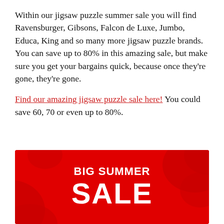Within our jigsaw puzzle summer sale you will find Ravensburger, Gibsons, Falcon de Luxe, Jumbo, Educa, King and so many more jigsaw puzzle brands. You can save up to 80% in this amazing sale, but make sure you get your bargains quick, because once they're gone, they're gone.
Find our amazing jigsaw puzzle sale here! You could save 60, 70 or even up to 80%.
[Figure (infographic): Red banner with white bold text reading 'BIG SUMMER SALE' on a red background with decorative puzzle piece shapes]